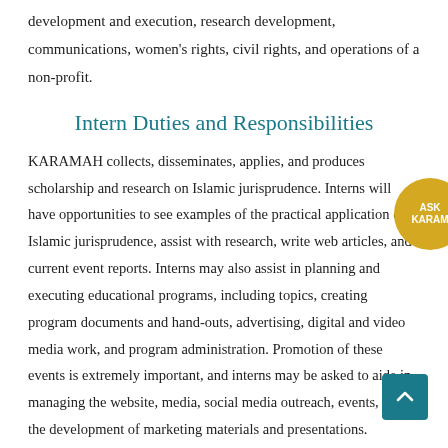development and execution, research development, communications, women's rights, civil rights, and operations of a non-profit.
Intern Duties and Responsibilities
KARAMAH collects, disseminates, applies, and produces scholarship and research on Islamic jurisprudence. Interns will have opportunities to see examples of the practical application of Islamic jurisprudence, assist with research, write web articles, and current event reports. Interns may also assist in planning and executing educational programs, including topics, creating program documents and hand-outs, advertising, digital and video media work, and program administration. Promotion of these events is extremely important, and interns may be asked to aide in managing the website, media, social media outreach, events, and the development of marketing materials and presentations. KARAMAH